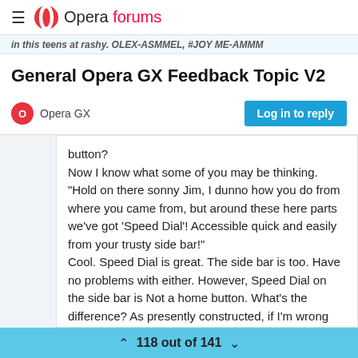Opera forums
in this teens at rashy. OLEX-ASMMEL, #JOY ME-AMMA
General Opera GX Feedback Topic V2
Opera GX
button?
Now I know what some of you may be thinking. "Hold on there sonny Jim, I dunno how you do from where you came from, but around these here parts we've got 'Speed Dial'! Accessible quick and easily from your trusty side bar!"
Cool. Speed Dial is great. The side bar is too. Have no problems with either. However, Speed Dial on the side bar is Not a home button. What's the difference? As presently constructed, if I'm wrong please do correct me, Speed Dial will
118 out of 141